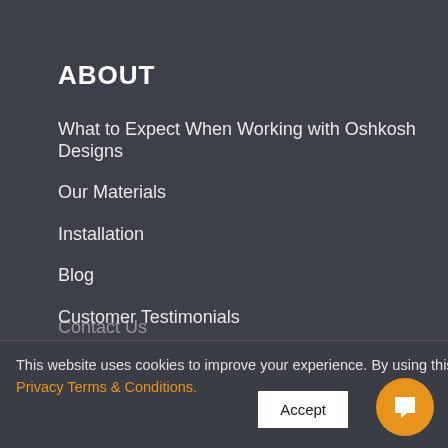ABOUT
What to Expect When Working with Oshkosh Designs
Our Materials
Installation
Blog
Customer Testimonials
Find a Distributor or Retailer
Warranty
This website uses cookies to improve your experience. By using this site, you agree to our updated Privacy Terms & Conditions.
Accept